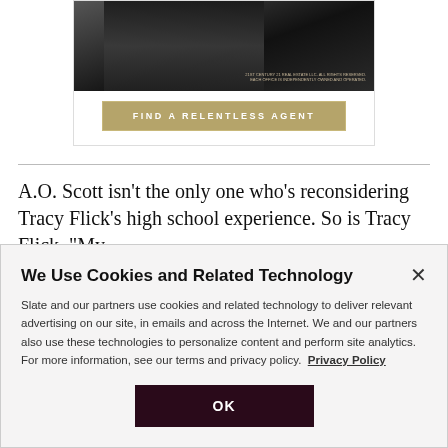[Figure (photo): Advertisement banner: black and white photo of people in formal attire with a 'FIND A RELENTLESS AGENT' button below, for a real estate company (21st Century 21 Real Estate LLC)]
A.O. Scott isn't the only one who's reconsidering Tracy Flick's high school experience. So is Tracy Flick. “My
We Use Cookies and Related Technology
Slate and our partners use cookies and related technology to deliver relevant advertising on our site, in emails and across the Internet. We and our partners also use these technologies to personalize content and perform site analytics. For more information, see our terms and privacy policy.  Privacy Policy
OK